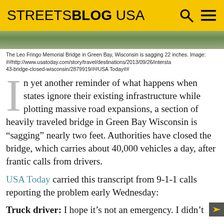STREETSBLOG USA
[Figure (photo): Partial view of a bridge or outdoor scene, green/nature tones]
The Leo Fringo Memorial Bridge in Green Bay, Wisconsin is sagging 22 inches. Image: ##http://www.usatoday.com/story/travel/destinations/2013/09/26/interstate-43-bridge-closed-wisconsin/2879919/##USA Today##
In yet another reminder of what happens when states ignore their existing infrastructure while plotting massive road expansions, a section of heavily traveled bridge in Green Bay Wisconsin is “sagging” nearly two feet. Authorities have closed the bridge, which carries about 40,000 vehicles a day, after frantic calls from drivers.
USA Today carried this transcript from 9-1-1 calls reporting the problem early Wednesday:
Truck driver: I hope it’s not an emergency. I didn’t